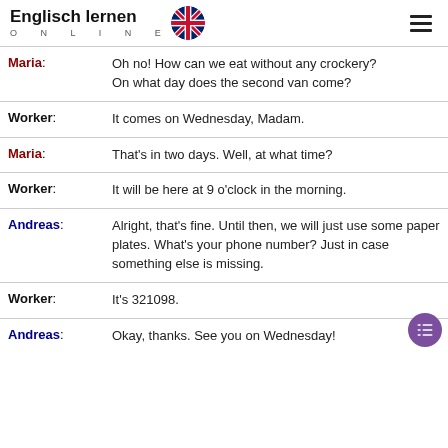Englisch lernen ONLINE
| Speaker | Speech |
| --- | --- |
| Maria: | Oh no! How can we eat without any crockery? On what day does the second van come? |
| Worker: | It comes on Wednesday, Madam. |
| Maria: | That's in two days. Well, at what time? |
| Worker: | It will be here at 9 o'clock in the morning. |
| Andreas: | Alright, that's fine. Until then, we will just use some paper plates. What's your phone number? Just in case something else is missing. |
| Worker: | It's 321098. |
| Andreas: | Okay, thanks. See you on Wednesday! |